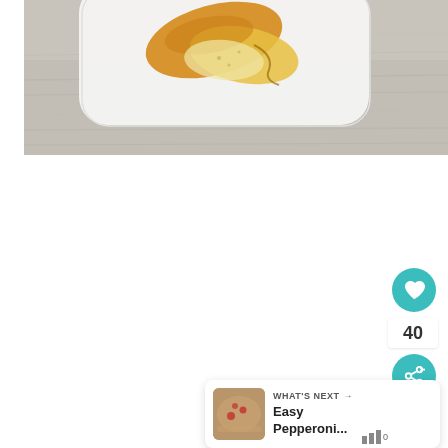[Figure (photo): Overhead food photograph showing a white rectangular plate with yellow/orange cooked food items (possibly squash or peppers with cheese) on a white-washed wood background]
[Figure (infographic): Heart/like button (teal circle with white heart icon), count of 40, share button (teal circle with share icon)]
[Figure (screenshot): What's Next card showing a small thumbnail of a pizza/bread item and text 'Easy Pepperoni...']
40
WHAT'S NEXT →
Easy Pepperoni...